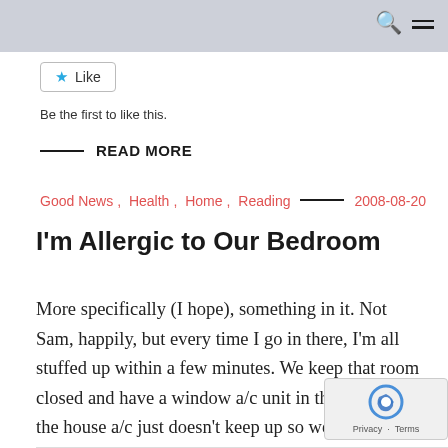Like
Be the first to like this.
READ MORE
Good News , Health , Home , Reading ——— 2008-08-20
I'm Allergic to Our Bedroom
More specifically (I hope), something in it. Not Sam, happily, but every time I go in there, I'm all stuffed up within a few minutes. We keep that room closed and have a window a/c unit in there because the house a/c just doesn't keep up so well. I'm wondering if there's something about the [...]